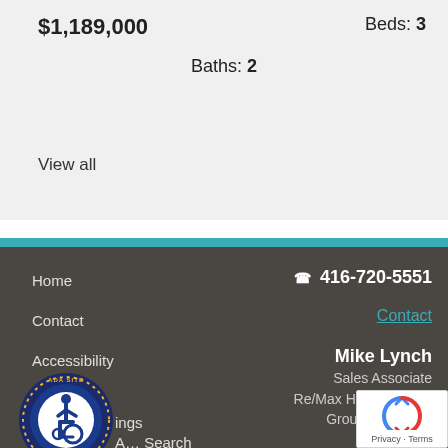$1,189,000
Beds: 3
Baths: 2
View all
Home
Contact
Accessibility
Ab...
ings
A... Search
☎ 416-720-5551
Contact
Mike Lynch
Sales Associate
Re/Max Hallmark First Group Realty Ltd Bro...
[Figure (logo): ADA Site Compliance badge — circular logo with wheelchair accessibility symbol, blue and gold colors]
[Figure (other): reCAPTCHA widget showing spinning arrows logo with Privacy and Terms text]